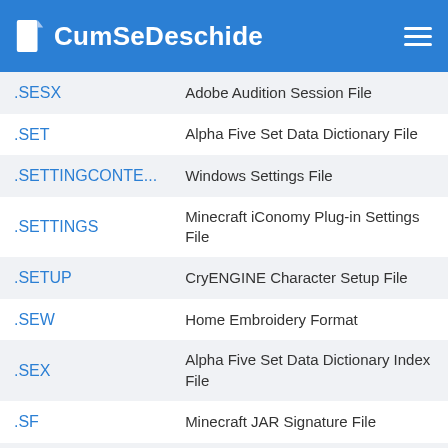CumSeDeschide
| Extension | Description |
| --- | --- |
| .SESX | Adobe Audition Session File |
| .SET | Alpha Five Set Data Dictionary File |
| .SETTINGCONTE... | Windows Settings File |
| .SETTINGS | Minecraft iConomy Plug-in Settings File |
| .SETUP | CryENGINE Character Setup File |
| .SEW | Home Embroidery Format |
| .SEX | Alpha Five Set Data Dictionary Index File |
| .SF | Minecraft JAR Signature File |
| .SF2 | SoundFont 2 Sound Bank |
| .SFAP0 | Sound Forge Pro Audio Proxy File |